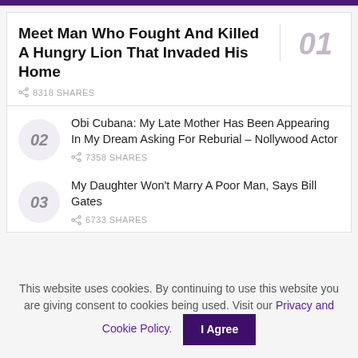01 Meet Man Who Fought And Killed A Hungry Lion That Invaded His Home — 8318 SHARES
02 Obi Cubana: My Late Mother Has Been Appearing In My Dream Asking For Reburial – Nollywood Actor — 7358 SHARES
03 My Daughter Won't Marry A Poor Man, Says Bill Gates — 6733 SHARES
This website uses cookies. By continuing to use this website you are giving consent to cookies being used. Visit our Privacy and Cookie Policy.